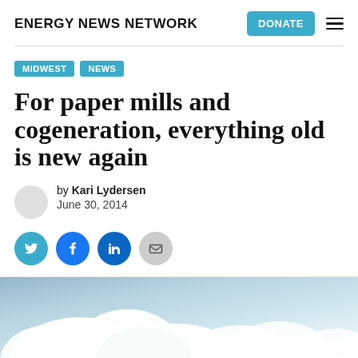ENERGY NEWS NETWORK
MIDWEST NEWS
For paper mills and cogeneration, everything old is new again
by Kari Lydersen
June 30, 2014
[Figure (photo): Aerial photo showing white steam or smoke clouds rising against a light blue-grey sky, likely from an industrial facility such as a paper mill.]